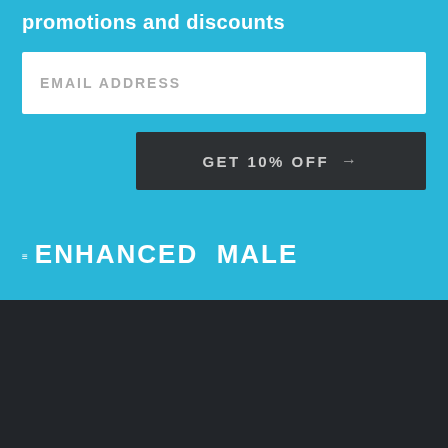promotions and discounts
[Figure (other): Email address input field (white box with placeholder text EMAIL ADDRESS)]
[Figure (other): Dark button with text GET 10% OFF →]
THE ENHANCED MALE
CUSTOMER SERVICE
[Figure (other): Teal chat bubble icon in bottom right of dark section]